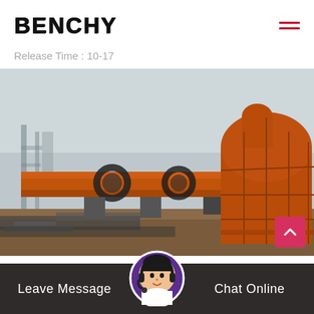BENCHY
Release Time : 10-17
[Figure (photo): Industrial rotary kiln or dryer drum — a large orange cylindrical drum on a construction site with a domed end cap mounted on the right side; industrial scaffolding visible in background]
Leave Message
Chat Online